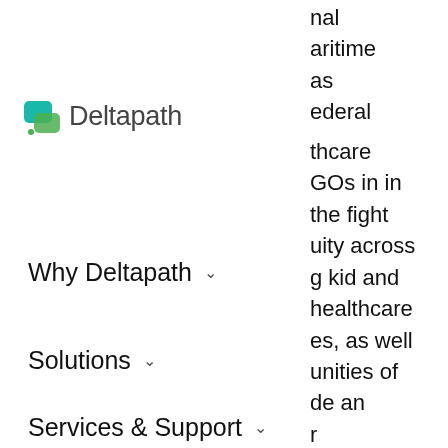[Figure (logo): Deltapath logo with teal/green icon and grey text]
X
Why Deltapath ˅
Solutions ˅
Services & Support ˅
🇺🇸 English ˅
🔍
nal
aritime
as
ederal
thcare
GOs in in
the fight
uity across
g kid and
healthcare
es, as well
unities of
de an
r
l renown
who are
ey are
ances as a
hat it